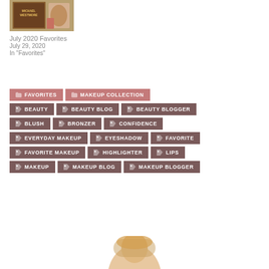[Figure (photo): Photo of Michael Westmore book with makeup products]
July 2020 Favorites
July 29, 2020
In "Favorites"
FAVORITES
MAKEUP COLLECTION
BEAUTY
BEAUTY BLOG
BEAUTY BLOGGER
BLUSH
BRONZER
CONFIDENCE
EVERYDAY MAKEUP
EYESHADOW
FAVORITE
FAVORITE MAKEUP
HIGHLIGHTER
LIPS
MAKEUP
MAKEUP BLOG
MAKEUP BLOGGER
[Figure (photo): Portrait photo of a person with blonde hair]